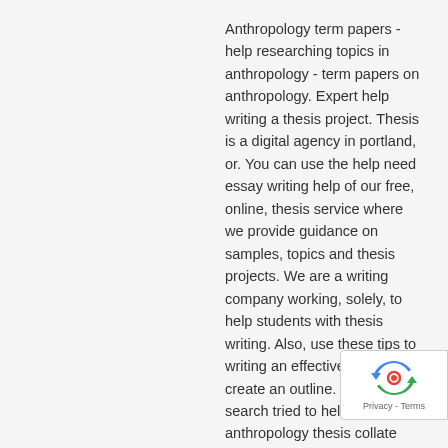Anthropology term papers - help researching topics in anthropology - term papers on anthropology. Expert help writing a thesis project. Thesis is a digital agency in portland, or. You can use the help need essay writing help of our free, online, thesis service where we provide guidance on samples, topics and thesis projects. We are a writing company working, solely, to help students with thesis writing. Also, use these tips to writing an effective essay: create an outline. My essay search tried to help writing anthropology thesis collate the best thesis paper writing samples that could be of great help to you. Nih grant writing tip sheets need help writing essay book links to different pages with tips for how to write a successful nih grant. Help. anthropology. libguides at
[Figure (logo): reCAPTCHA badge with spinning arrows logo icon and 'Privacy - Terms' text]